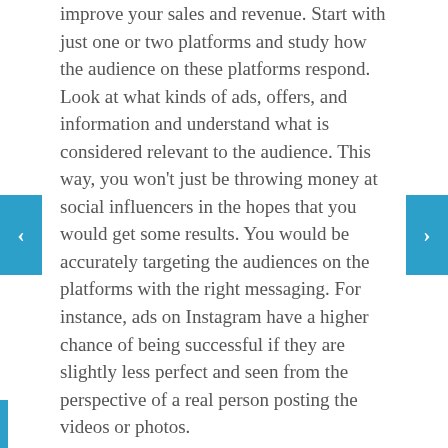improve your sales and revenue. Start with just one or two platforms and study how the audience on these platforms respond. Look at what kinds of ads, offers, and information and understand what is considered relevant to the audience. This way, you won't just be throwing money at social influencers in the hopes that you would get some results. You would be accurately targeting the audiences on the platforms with the right messaging. For instance, ads on Instagram have a higher chance of being successful if they are slightly less perfect and seen from the perspective of a real person posting the videos or photos.
Hiring the Wrong Influencers
For many business owners, the first and only metric they look at and consider is the number of followers or fans that a social influencer has.